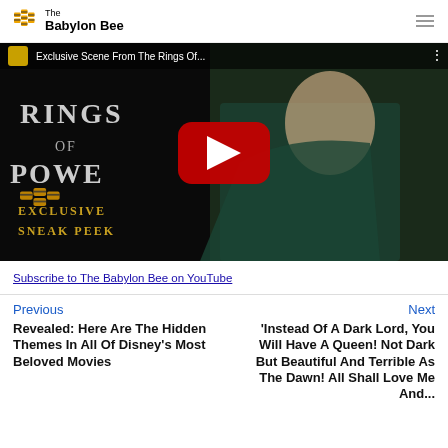The Babylon Bee
[Figure (screenshot): YouTube video thumbnail for 'Exclusive Scene From The Rings Of...' showing the Rings of Power exclusive sneak peek with an elf character and the Babylon Bee logo overlay with a red YouTube play button.]
Subscribe to The Babylon Bee on YouTube
Previous
Next
Revealed: Here Are The Hidden Themes In All Of Disney's Most Beloved Movies
'Instead Of A Dark Lord, You Will Have A Queen! Not Dark But Beautiful And Terrible As The Dawn! All Shall Love Me And...